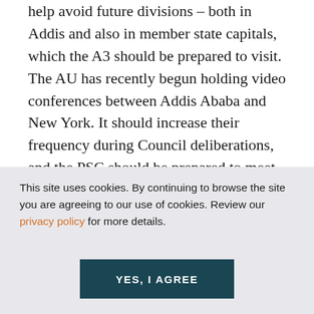help avoid future divisions – both in Addis and also in member state capitals, which the A3 should be prepared to visit. The AU has recently begun holding video conferences between Addis Ababa and New York. It should increase their frequency during Council deliberations, and the PSC should be prepared to meet at short notice if the A3 needs quick decisions. The PSC should also give the A3 a clear negotiating mandate that sets out areas for possible compromise and
This site uses cookies. By continuing to browse the site you are agreeing to our use of cookies. Review our privacy policy for more details.
YES, I AGREE